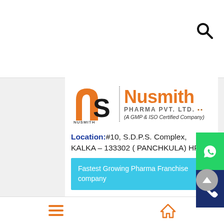[Figure (logo): Nusmith Pharma Pvt. Ltd. logo with orange NS icon, dotted vertical divider, orange Nusmith brand name, PHARMA PVT. LTD. subtitle, and (A GMP & ISO Certified Company) tagline]
Location: #10, S.D.P.S. Complex, KALKA – 133302 ( PANCHKULA) HR
Fastest Growing Pharma Franchise company
Nusmith Pharma is offering a wide range of pharma marketing company. They are offering wide range of WHO GMP Certified Pharmaceutical Products...
Navigation bar with hamburger menu and home icon